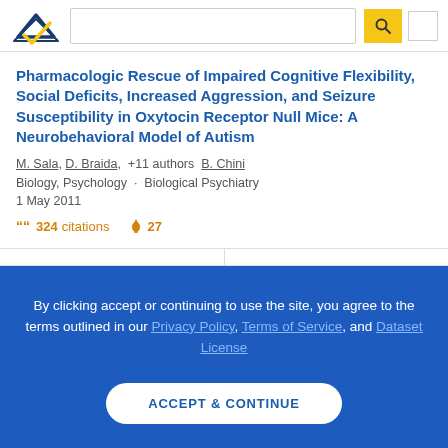Semantic Scholar – search bar header
Pharmacologic Rescue of Impaired Cognitive Flexibility, Social Deficits, Increased Aggression, and Seizure Susceptibility in Oxytocin Receptor Null Mice: A Neurobehavioral Model of Autism
M. Sala, D. Braida, +11 authors B. Chini
Biology, Psychology · Biological Psychiatry
1 May 2011
324 citations   27
By clicking accept or continuing to use the site, you agree to the terms outlined in our Privacy Policy, Terms of Service, and Dataset License
ACCEPT & CONTINUE